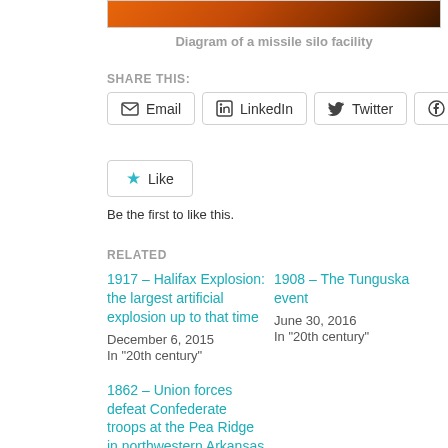[Figure (photo): Top strip showing partial image of missile silo facility with orange/fire tones]
Diagram of a missile silo facility
SHARE THIS:
Email | LinkedIn | Twitter | Facebook | Like
Be the first to like this.
RELATED
1917 – Halifax Explosion: the largest artificial explosion up to that time
December 6, 2015
In "20th century"
1908 – The Tunguska event
June 30, 2016
In "20th century"
1862 – Union forces defeat Confederate troops at the Pea Ridge in northwestern Arkansas